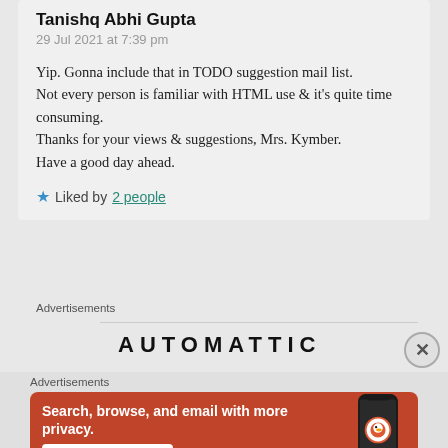Tanishq Abhi Gupta
29 Jul 2021 at 7:39 pm
Yip. Gonna include that in TODO suggestion mail list.
Not every person is familiar with HTML use & it's quite time consuming.
Thanks for your views & suggestions, Mrs. Kymber.
Have a good day ahead.
★ Liked by 2 people
Advertisements
AUTOMATTIC
Advertisements
[Figure (screenshot): DuckDuckGo advertisement banner: orange background with text 'Search, browse, and email with more privacy.' and 'All in One Free App' button, with a phone image showing DuckDuckGo logo on the right]